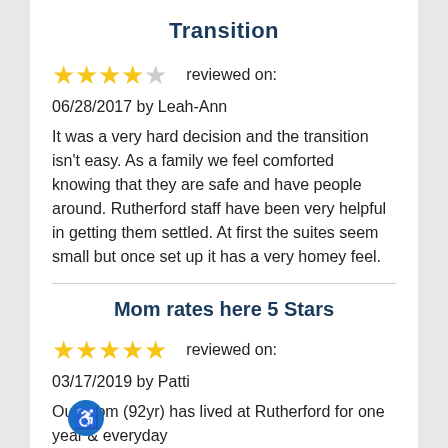Transition
★★★★☆  reviewed on: 06/28/2017 by Leah-Ann
It was a very hard decision and the transition isn't easy. As a family we feel comforted knowing that they are safe and have people around. Rutherford staff have been very helpful in getting them settled. At first the suites seem small but once set up it has a very homey feel.
Mom rates here 5 Stars
★★★★★  reviewed on: 03/17/2019 by Patti
Our Mom (92yr) has lived at Rutherford for one year & everyday